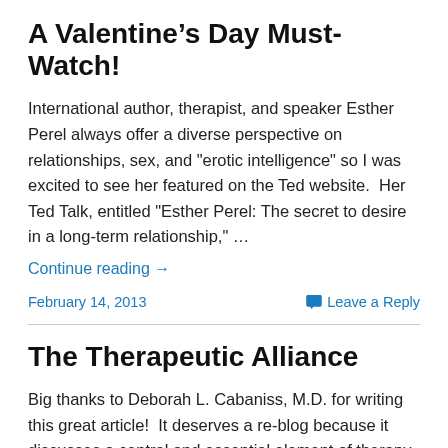A Valentine's Day Must-Watch!
International author, therapist, and speaker Esther Perel always offer a diverse perspective on relationships, sex, and "erotic intelligence" so I was excited to see her featured on the Ted website.  Her Ted Talk, entitled "Esther Perel: The secret to desire in a long-term relationship," …
Continue reading →
February 14, 2013
Leave a Reply
The Therapeutic Alliance
Big thanks to Deborah L. Cabaniss, M.D. for writing this great article!  It deserves a re-blog because it discusses a central and essential element of therapy that is often